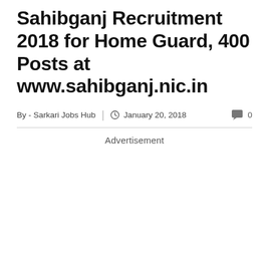Sahibganj Recruitment 2018 for Home Guard, 400 Posts at www.sahibganj.nic.in
By - Sarkari Jobs Hub | January 20, 2018  0
Advertisement